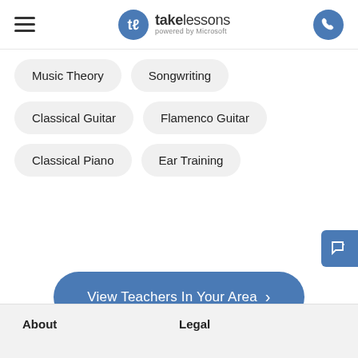[Figure (screenshot): TakeLessons logo with blue circle icon and 'powered by Microsoft' tagline]
Music Theory
Songwriting
Classical Guitar
Flamenco Guitar
Classical Piano
Ear Training
View Teachers In Your Area >
About
Legal